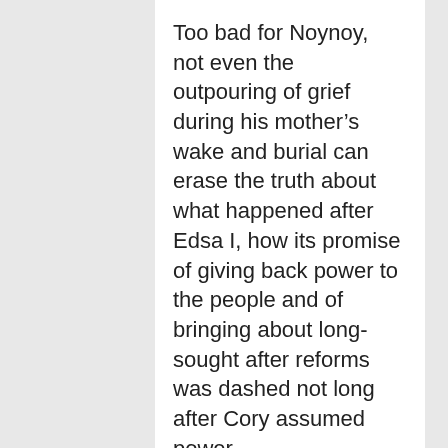Too bad for Noynoy, not even the outpouring of grief during his mother’s wake and burial can erase the truth about what happened after Edsa I, how its promise of giving back power to the people and of bringing about long-sought after reforms was dashed not long after Cory assumed power.
What has been obscured in the furor over whether EDSA 1 was a failure or not is the